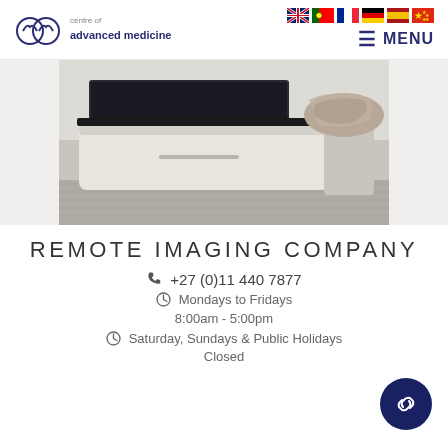centre of advanced medicine — flags and MENU
[Figure (photo): Medical imaging equipment (MRI machine bed/table) in a clinical room, photographed in muted grey and beige tones]
REMOTE IMAGING COMPANY
+27 (0)11 440 7877
Mondays to Fridays
8:00am - 5:00pm
Saturday, Sundays & Public Holidays
Closed